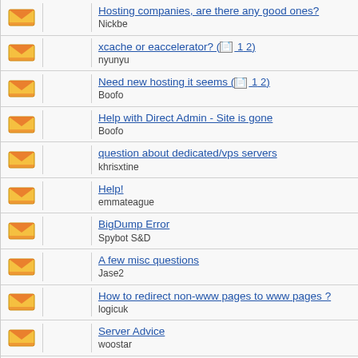Hosting companies, are there any good ones? — Nickbe
xcache or eaccelerator? ( 1 2) — nyunyu
Need new hosting it seems ( 1 2) — Boofo
Help with Direct Admin - Site is gone — Boofo
question about dedicated/vps servers — khrisxtine
Help! — emmateague
BigDump Error — Spybot S&D
A few misc questions — Jase2
How to redirect non-www pages to www pages ? — logicuk
Server Advice — woostar
Liquidweb Question — Brueskie
phpMyAdmin in forum's directory — ehabfouad22
Hostgator Elite Dedicated (150-200 concurrent users)